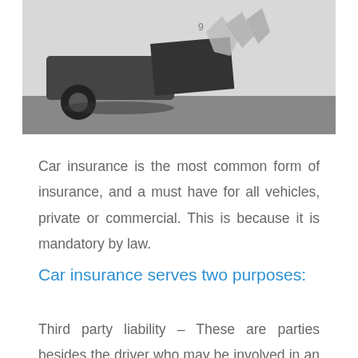[Figure (photo): Black and white photograph of a car accident showing vehicle damage and crash scene]
Car insurance is the most common form of insurance, and a must have for all vehicles, private or commercial. This is because it is mandatory by law.
Car insurance serves two purposes:
Third party liability – These are parties besides the driver who may be involved in an accident, such as passengers, pedestrians, and other motorists. The